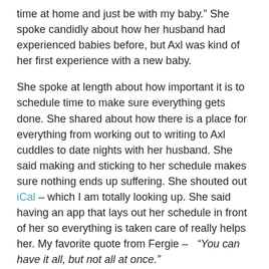time at home and just be with my baby.”  She spoke candidly about how her husband had experienced babies before, but Axl was kind of her first experience with a new baby.
She spoke at length about how important it is to schedule time to make sure everything gets done.  She shared about how there is a place for everything from working out to writing to Axl cuddles to date nights with her husband.  She said making and sticking to her schedule makes sure nothing ends up suffering.  She shouted out iCal – which I am totally looking up.  She said having an app that lays out her schedule in front of her so everything is taken care of really helps her.  My favorite quote from Fergie –   “You can have it all, but not all at once.”